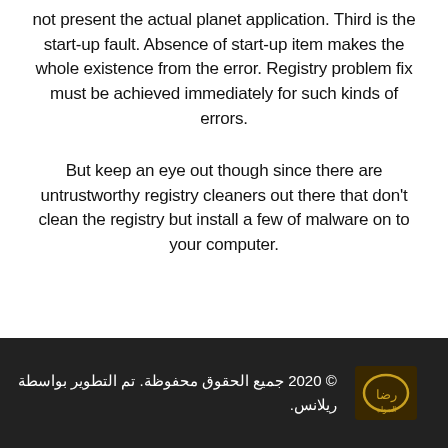not present the actual planet application. Third is the start-up fault. Absence of start-up item makes the whole existence from the error. Registry problem fix must be achieved immediately for such kinds of errors.
But keep an eye out though since there are untrustworthy registry cleaners out there that don't clean the registry but install a few of malware on to your computer.
© 2020 جميع الحقوق محفوظة. تم التطوير بواسطة ريلانس.